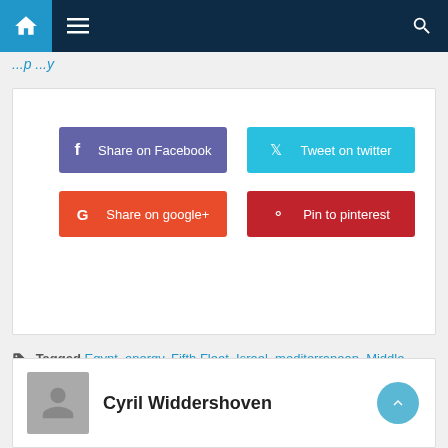Navigation bar with home, menu, and search icons
...p ...y
[Figure (screenshot): Social media share buttons: Share on Facebook (purple), Tweet on twitter (blue), Share on google+ (orange-red), Pin to pinterest (dark red)]
Tagged Egypt, energy, Fifth Fleet, Israel, mediterranean, Middle East, natural gas, Nile, North Africa, OPEC, Russia, suez canal, Syria
Cyril Widdershoven